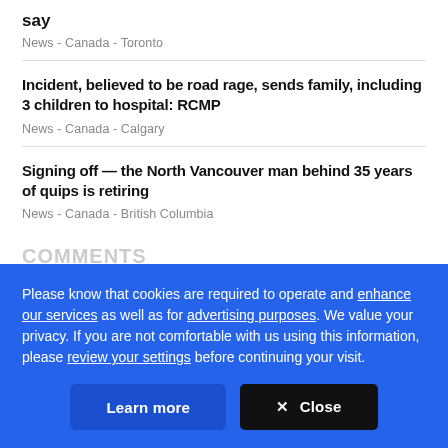say
News  -  Canada  -  Toronto
Incident, believed to be road rage, sends family, including 3 children to hospital: RCMP
News  -  Canada  -  Calgary
Signing off — the North Vancouver man behind 35 years of quips is retiring
News  -  Canada  -  British Columbia
COMMENTS
Please know that cookies are required to operate and enhance our services as well as for advertising purposes. We value your privacy. If you are not comfortable with us using this information, please review your settings before continuing your visit.
Learn more
✕ Close